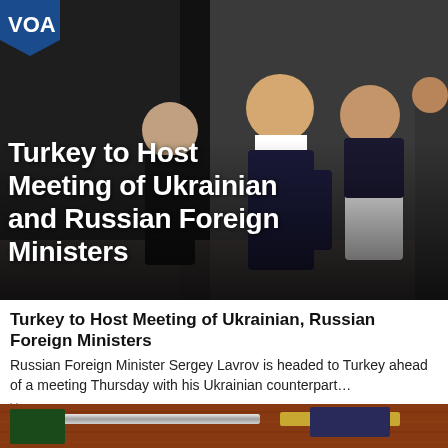[Figure (photo): Two men in dark suits walking and smiling in a corridor, one in a white shirt visible in the center, with a VOA logo watermark in the top-left corner]
Turkey to Host Meeting of Ukrainian and Russian Foreign Ministers
Turkey to Host Meeting of Ukrainian, Russian Foreign Ministers
Russian Foreign Minister Sergey Lavrov is headed to Turkey ahead of a meeting Thursday with his Ukrainian counterpart…
Yemennews
[Figure (photo): Close-up of what appears to be a wooden surface with a metal object, possibly a gun or musical instrument]